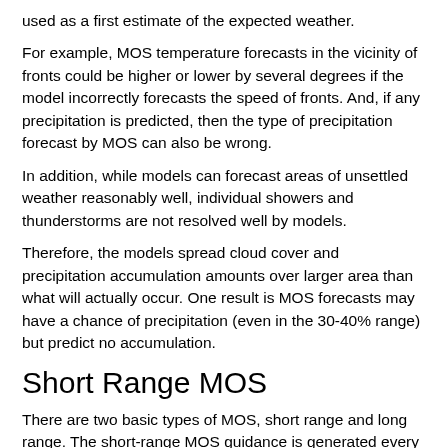used as a first estimate of the expected weather.
For example, MOS temperature forecasts in the vicinity of fronts could be higher or lower by several degrees if the model incorrectly forecasts the speed of fronts. And, if any precipitation is predicted, then the type of precipitation forecast by MOS can also be wrong.
In addition, while models can forecast areas of unsettled weather reasonably well, individual showers and thunderstorms are not resolved well by models.
Therefore, the models spread cloud cover and precipitation accumulation amounts over larger area than what will actually occur. One result is MOS forecasts may have a chance of precipitation (even in the 30-40% range) but predict no accumulation.
Short Range MOS
There are two basic types of MOS, short range and long range. The short-range MOS guidance is generated every six hours (0000, 0600, 1200, and 1800 UTC) from the Global Forecast System (GFS) and North American (NAM) models.